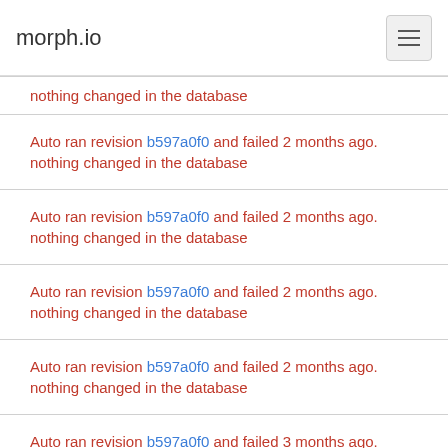morph.io
nothing changed in the database
Auto ran revision b597a0f0 and failed 2 months ago.
nothing changed in the database
Auto ran revision b597a0f0 and failed 2 months ago.
nothing changed in the database
Auto ran revision b597a0f0 and failed 2 months ago.
nothing changed in the database
Auto ran revision b597a0f0 and failed 2 months ago.
nothing changed in the database
Auto ran revision b597a0f0 and failed 3 months ago.
nothing changed in the database
Auto ran revision b597a0f0 and failed 3 months ago.
nothing changed in the database